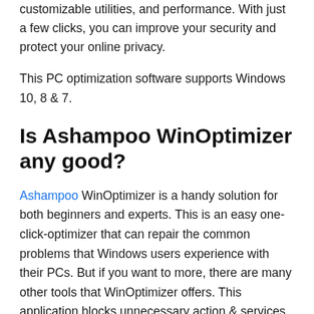customizable utilities, and performance. With just a few clicks, you can improve your security and protect your online privacy.
This PC optimization software supports Windows 10, 8 & 7.
Is Ashampoo WinOptimizer any good?
Ashampoo WinOptimizer is a handy solution for both beginners and experts. This is an easy one-click-optimizer that can repair the common problems that Windows users experience with their PCs. But if you want to more, there are many other tools that WinOptimizer offers. This application blocks unnecessary action & services that your PC running to give a quick boost to your PC. This helps your PC to get some extra disk space to perform faster.
Besides boosting and speeding up the PC, Ashampoo